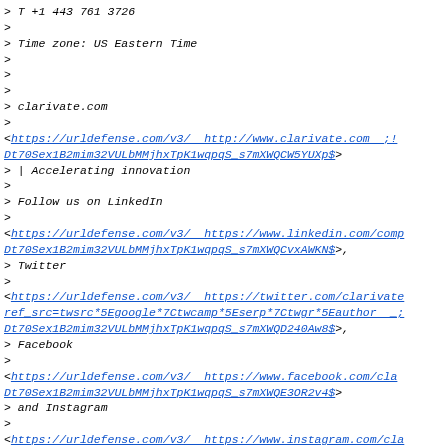> T +1 443 761 3726
>
> Time zone: US Eastern Time
>
>
>
> clarivate.com
>
<https://urldefense.com/v3/  http://www.clarivate.com  ;!!Dt70Sex1B2mim32VULbMMjhxTpK1wqpqS_s7mXWQCW5YUXp$>
> | Accelerating innovation
>
> Follow us on LinkedIn
>
<https://urldefense.com/v3/  https://www.linkedin.com/comp Dt70Sex1B2mim32VULbMMjhxTpK1wqpqS_s7mXWQCvxAWKN$>,
> Twitter
>
<https://urldefense.com/v3/  https://twitter.com/clarivate ref_src=twsrc*5Egoogle*7Ctwcamp*5Eserp*7Ctwgr*5Eauthor  _; Dt70Sex1B2mim32VULbMMjhxTpK1wqpqS_s7mXWQD240Aw8$>,
> Facebook
>
<https://urldefense.com/v3/  https://www.facebook.com/cla Dt70Sex1B2mim32VULbMMjhxTpK1wqpqS_s7mXWQE3OR2v4$>
> and Instagram
>
<https://urldefense.com/v3/  https://www.instagram.com/cla hl=en  ;!!D0xrgLBm!TNAiZf3EyheqvXxgQ3E8rqWa-Dt70Sex1B2mim32VULbMMjhxTpK1wqpqS_s7mXWQJ4vFbZ1$>